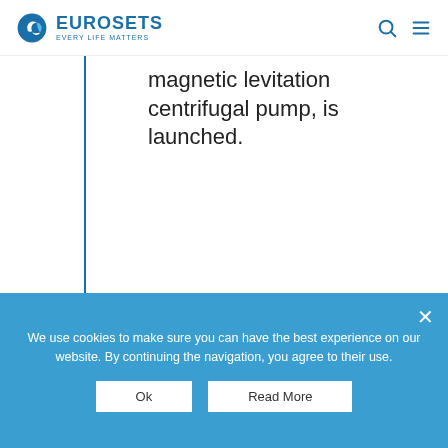EUROSETS - EVERY LIFE MATTERS
magnetic levitation centrifugal pump, is launched.
2020
ECMOLIFE-Full market release. Launch of Leonardo Trolley.
We use cookies to make sure you can have the best experience on our website. By continuing the navigation, you agree to their use.